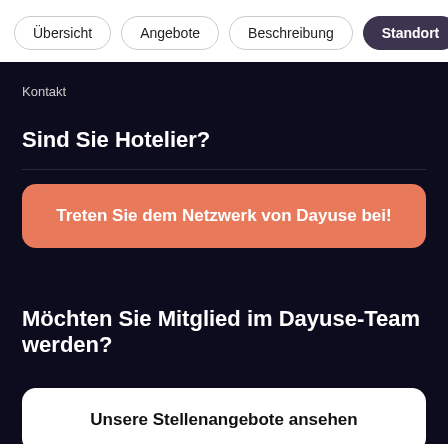Übersicht | Angebote | Beschreibung | Standort
Kontakt
Sind Sie Hotelier?
Treten Sie dem Netzwerk von Dayuse bei!
Möchten Sie Mitglied im Dayuse-Team werden?
Unsere Stellenangebote ansehen